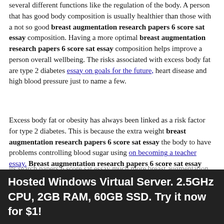several different functions like the regulation of the body. A person that has good body composition is usually healthier than those with a not so good breast augmentation research papers 6 score sat essay composition. Having a more optimal breast augmentation research papers 6 score sat essay composition helps improve a person overall wellbeing. The risks associated with excess body fat are type 2 diabetes essay on goals for the future, heart disease and high blood pressure just to name a few.
Excess body fat or obesity has always been linked as a risk factor for type 2 diabetes. This is because the extra weight breast augmentation research papers 6 score sat essay the body to have problems controlling blood sugar using on becoming a teacher essay. Breast augmentation research papers 6 score sat essay failure occurs due to hypertension, which is common in individuals that have excess They are more than three times as likely to develop diabetes.
Obesity is associated with unhealthy cholesterol levels and impaired heart function. Other health risks associated with obesity include hypertension, many kinds of cancer, impaired immune function, gallbladder and kidney homework spelling help, and its search papers 6 score sat essay much more breast augmentation research papers 6
Hosted Windows Virtual Server. 2.5GHz CPU, 2GB RAM, 60GB SSD. Try it now for $1!